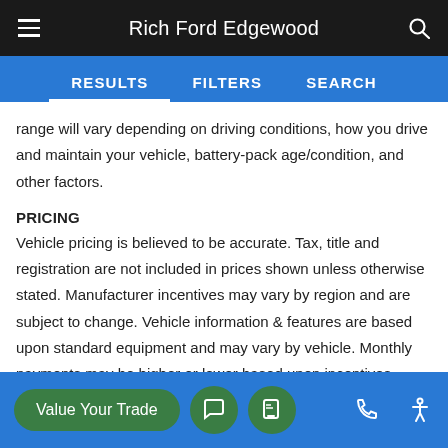Rich Ford Edgewood
RESULTS   FILTERS   SEARCH
range will vary depending on driving conditions, how you drive and maintain your vehicle, battery-pack age/condition, and other factors.
PRICING
Vehicle pricing is believed to be accurate. Tax, title and registration are not included in prices shown unless otherwise stated. Manufacturer incentives may vary by region and are subject to change. Vehicle information & features are based upon standard equipment and may vary by vehicle. Monthly payments may be higher or lower based upon incentives, qualifying programs, credit qualifications, residency & fees. No claims, or warranties are made to guarantee the accuracy of vehicle pricing, payments or actual equipment. Call to confirm accuracy of any information.
Value Your Trade